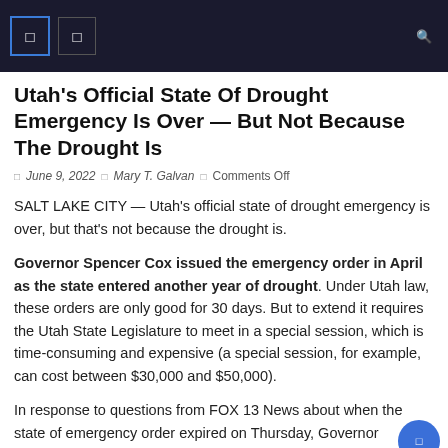Utah's Official State Of Drought Emergency Is Over — But Not Because The Drought Is
Utah's Official State Of Drought Emergency Is Over — But Not Because The Drought Is
June 9, 2022  |  Mary T. Galvan  |  Comments Off
SALT LAKE CITY — Utah's official state of drought emergency is over, but that's not because the drought is.
Governor Spencer Cox issued the emergency order in April as the state entered another year of drought. Under Utah law, these orders are only good for 30 days. But to extend it requires the Utah State Legislature to meet in a special session, which is time-consuming and expensive (a special session, for example, can cost between $30,000 and $50,000).
In response to questions from FOX 13 News about when the state of emergency order expired on Thursday, Governor